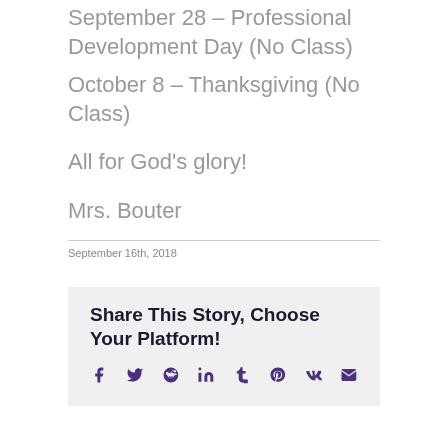September 28 – Professional Development Day (No Class)
October 8 – Thanksgiving (No Class)
All for God's glory!
Mrs. Bouter
September 16th, 2018
Share This Story, Choose Your Platform!